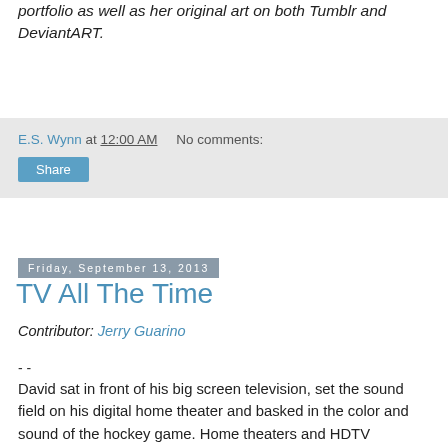portfolio as well as her original art on both Tumblr and DeviantART.
E.S. Wynn at 12:00 AM   No comments:
Share
Friday, September 13, 2013
TV All The Time
Contributor: Jerry Guarino
- -
David sat in front of his big screen television, set the sound field on his digital home theater and basked in the color and sound of the hockey game. Home theaters and HDTV cameras had made watching at home virtually as good as going to the arena and a whole lot less expensive; you just had to provide your own food. Add a girl that liked the game, a pizza and good wine and you had a date night to remember. David had mastered the art of at home